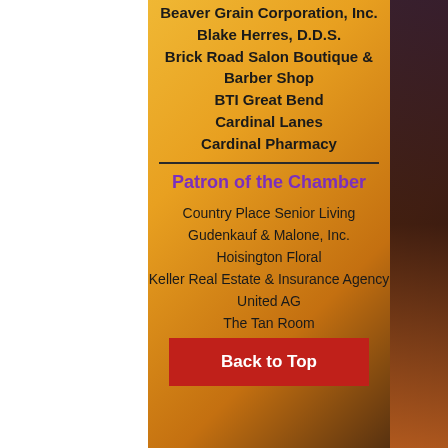Beaver Grain Corporation, Inc.
Blake Herres, D.D.S.
Brick Road Salon Boutique & Barber Shop
BTI Great Bend
Cardinal Lanes
Cardinal Pharmacy
Patron of the Chamber
Country Place Senior Living
Gudenkauf & Malone, Inc.
Hoisington Floral
Keller Real Estate & Insurance Agency
United AG
The Tan Room
Back to Top